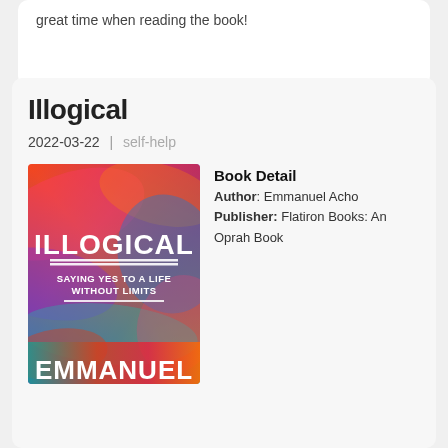great time when reading the book!
Illogical
2022-03-22 | self-help
[Figure (illustration): Book cover of 'Illogical: Saying Yes to a Life Without Limits' by Emmanuel Acho, with colorful abstract background in red, blue, purple, pink, and teal]
Book Detail Author: Emmanuel Acho Publisher: Flatiron Books: An Oprah Book